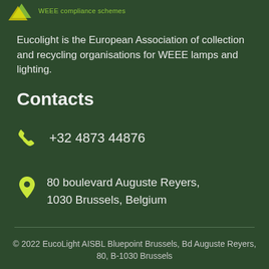WEEE compliance schemes
Eucolight is the European Association of collection and recycling organisations for WEEE lamps and lighting.
Contacts
+32 4873 44876
80 boulevard Auguste Reyers, 1030 Brussels, Belgium
© 2022 EucoLight AISBL Bluepoint Brussels, Bd Auguste Reyers, 80, B-1030 Brussels